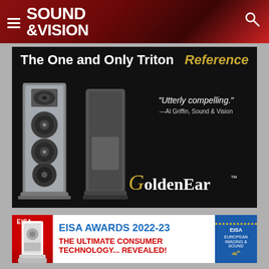Sound & Vision
[Figure (photo): GoldenEar Triton Reference speakers advertisement. Shows two tower speakers (one exploded view showing internal components, one full view) against black background. Text: 'The One and Only Triton Reference' with quote 'Utterly compelling.' —Al Griffin, Sound & Vision. GoldenEar logo at bottom.]
[Figure (photo): EISA Awards 2022-23 advertisement banner. Shows a white speaker on red background on the left. Text: 'EISA AWARDS 2022-23 THE ULTIMATE CONSUMER TECHNOLOGY... REVEALED!' with EISA logo badge on right.]